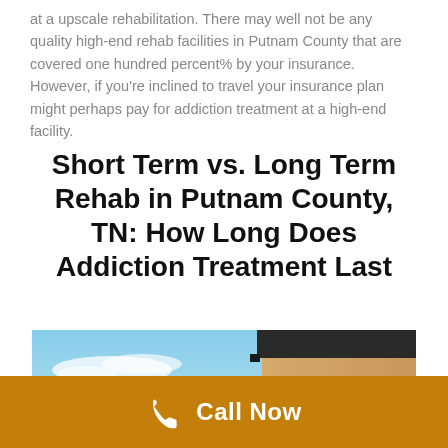at a upscale rehabilitation. There may well not be any quality high-end rehab facilities in Putnam County that are covered one hundred percent% by your insurance. However, if you're inclined to travel your insurance plan might perhaps pay for addiction treatment at a high-end facility.
Short Term vs. Long Term Rehab in Putnam County, TN: How Long Does Addiction Treatment Last
[Figure (photo): Photo of a building exterior with a blue sky with wispy white clouds in the background, showing the corner of a modern structure with a dark overhang and large windows.]
Call Now